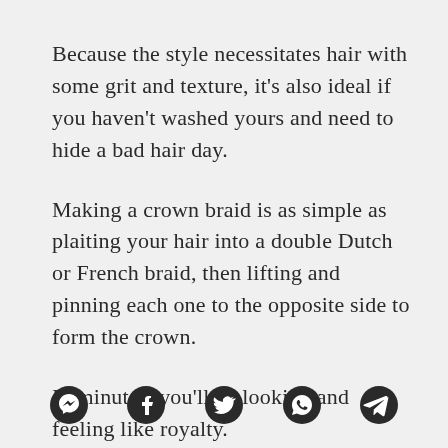Because the style necessitates hair with some grit and texture, it's also ideal if you haven't washed yours and need to hide a bad hair day.
Making a crown braid is as simple as plaiting your hair into a double Dutch or French braid, then lifting and pinning each one to the opposite side to form the crown.
In minutes, you'll be looking and feeling like royalty.
[Figure (infographic): Row of five social media share icons: Messenger, Facebook, Twitter/X, WhatsApp, Telegram]